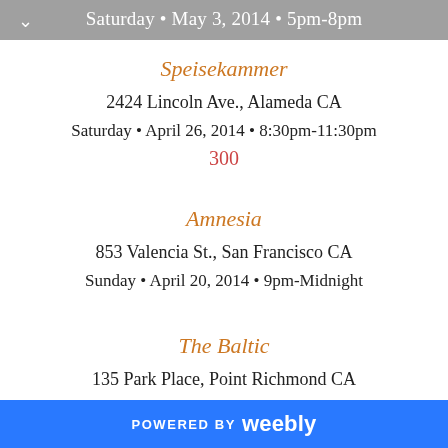Saturday • May 3, 2014 • 5pm-8pm
Speisekammer
2424 Lincoln Ave., Alameda CA
Saturday • April 26, 2014 • 8:30pm-11:30pm
300
Amnesia
853 Valencia St., San Francisco CA
Sunday • April 20, 2014 • 9pm-Midnight
The Baltic
135 Park Place, Point Richmond CA
Saturday • April 19, 2014 • 9:30pm-12am
POWERED BY weebly